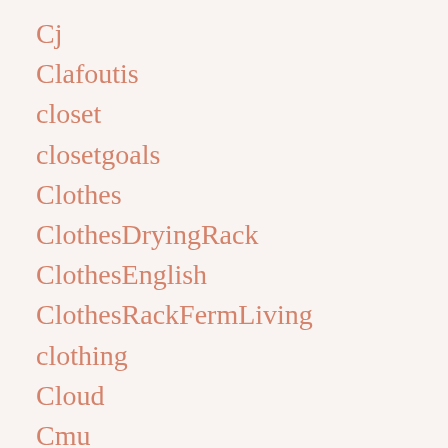Cj
Clafoutis
closet
closetgoals
Clothes
ClothesDryingRack
ClothesEnglish
ClothesRackFermLiving
clothing
Cloud
Cmu
CoathangerAustralia
CoatHangers
CoathangersHamburg